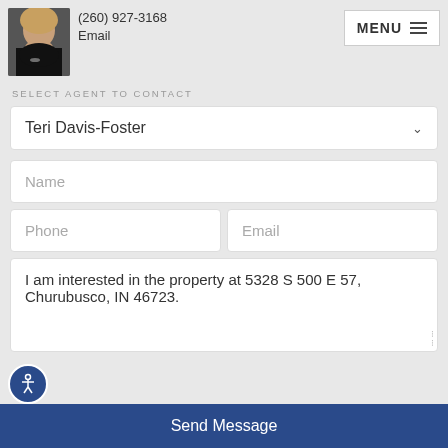[Figure (photo): Headshot photo of real estate agent Teri Davis-Foster, a woman with short blonde/curly hair wearing a black top and necklace]
(260) 927-3168
Email
MENU
SELECT AGENT TO CONTACT
Teri Davis-Foster
Name
Phone
Email
I am interested in the property at 5328 S 500 E 57, Churubusco, IN 46723.
Send Message